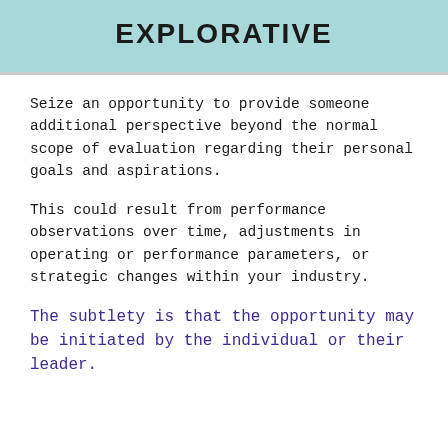EXPLORATIVE
Seize an opportunity to provide someone additional perspective beyond the normal scope of evaluation regarding their personal goals and aspirations.
This could result from performance observations over time, adjustments in operating or performance parameters, or strategic changes within your industry.
The subtlety is that the opportunity may be initiated by the individual or their leader.